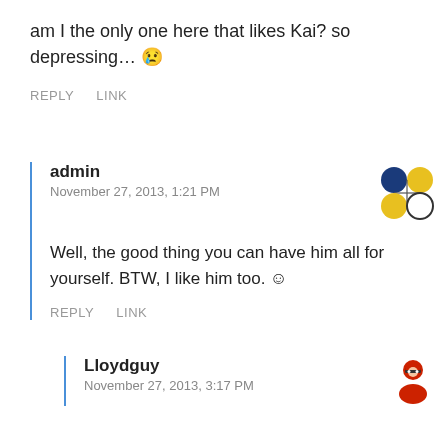am I the only one here that likes Kai? so depressing… 😢
REPLY   LINK
admin
November 27, 2013, 1:21 PM
Well, the good thing you can have him all for yourself. BTW, I like him too. 😊
REPLY   LINK
Lloydguy
November 27, 2013, 3:17 PM